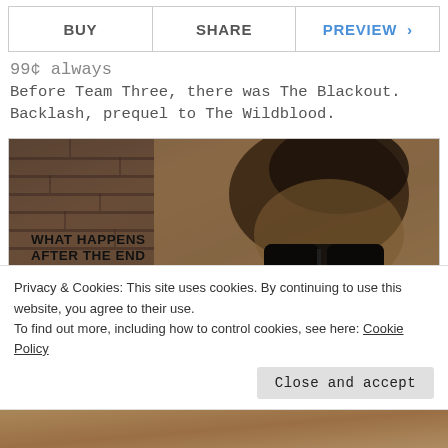BUY | SHARE | PREVIEW >
99¢ always
Before Team Three, there was The Blackout. Backlash, prequel to The Wildblood.
[Figure (photo): Book cover image showing a man with sunglasses and dark hair with text overlay reading 'WHAT HAPPENS AFTER THE END OF CIVILIZATION?' against a dark gritty background]
Privacy & Cookies: This site uses cookies. By continuing to use this website, you agree to their use.
To find out more, including how to control cookies, see here: Cookie Policy
Close and accept